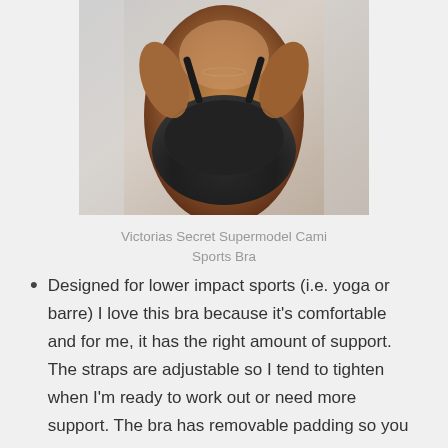[Figure (photo): A model wearing a dark/black sports bra (Victorias Secret Supermodel Cami Sports Bra), shown from torso up against a light background]
Victorias Secret Supermodel Cami Sports Bra
Designed for lower impact sports (i.e. yoga or barre) I love this bra because it's comfortable and for me, it has the right amount of support. The straps are adjustable so I tend to tighten when I'm ready to work out or need more support. The bra has removable padding so you